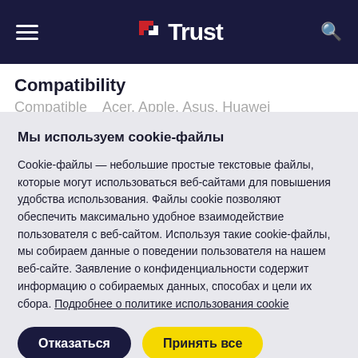[Figure (screenshot): Trust brand navigation bar with hamburger menu, Trust logo in red and white on dark navy background, and search icon]
Compatibility
Compatible   Acer, Apple, Asus, Huawei
Мы используем cookie-файлы
Cookie-файлы — небольшие простые текстовые файлы, которые могут использоваться веб-сайтами для повышения удобства использования. Файлы cookie позволяют обеспечить максимально удобное взаимодействие пользователя с веб-сайтом. Используя такие cookie-файлы, мы собираем данные о поведении пользователя на нашем веб-сайте. Заявление о конфиденциальности содержит информацию о собираемых данных, способах и цели их сбора. Подробнее о политике использования cookie
Отказаться   Принять все
Настройки файлов cookie